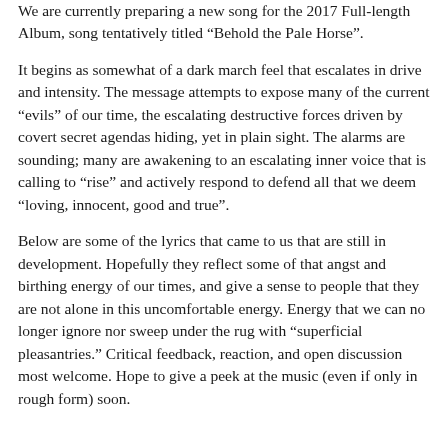We are currently preparing a new song for the 2017 Full-length Album, song tentatively titled “Behold the Pale Horse”.
It begins as somewhat of a dark march feel that escalates in drive and intensity. The message attempts to expose many of the current “evils” of our time, the escalating destructive forces driven by covert secret agendas hiding, yet in plain sight. The alarms are sounding; many are awakening to an escalating inner voice that is calling to “rise” and actively respond to defend all that we deem “loving, innocent, good and true”.
Below are some of the lyrics that came to us that are still in development. Hopefully they reflect some of that angst and birthing energy of our times, and give a sense to people that they are not alone in this uncomfortable energy. Energy that we can no longer ignore nor sweep under the rug with “superficial pleasantries.” Critical feedback, reaction, and open discussion most welcome. Hope to give a peek at the music (even if only in rough form) soon.